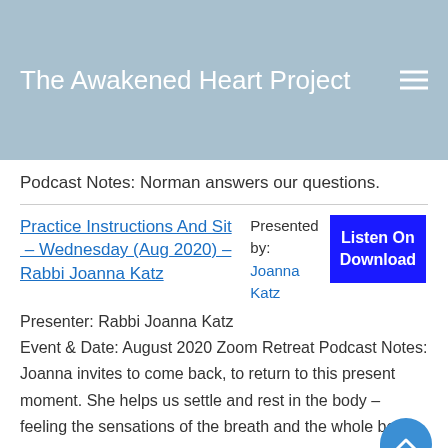The Awakened Heart Project
Podcast Notes: Norman answers our questions.
Practice Instructions And Sit – Wednesday (Aug 2020) – Rabbi Joanna Katz
Presented by: Joanna Katz
Listen On Download
Presenter: Rabbi Joanna Katz Event & Date: August 2020 Zoom Retreat Podcast Notes: Joanna invites to come back, to return to this present moment. She helps us settle and rest in the body – feeling the sensations of the breath and the whole body.